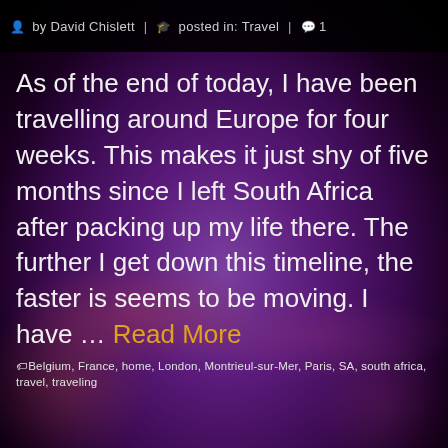by David Chislett | posted in: Travel | 1
As of the end of today, I have been travelling around Europe for four weeks. This makes it just shy of five months since I left South Africa after packing up my life there. The further I get down this timeline, the faster is seems to be moving. I have … Read More
Belgium, France, home, London, Montrieul-sur-Mer, Paris, SA, south africa, travel, traveling